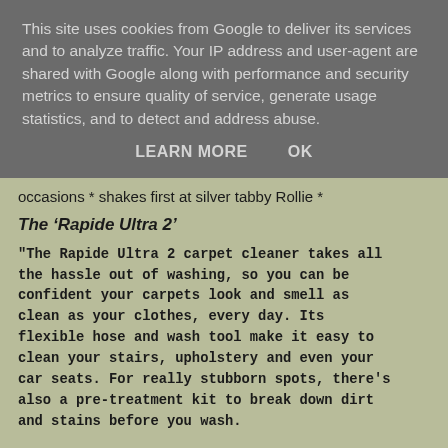This site uses cookies from Google to deliver its services and to analyze traffic. Your IP address and user-agent are shared with Google along with performance and security metrics to ensure quality of service, generate usage statistics, and to detect and address abuse.
LEARN MORE    OK
occasions * shakes first at silver tabby Rollie *
The ‘Rapide Ultra 2’
"The Rapide Ultra 2 carpet cleaner takes all the hassle out of washing, so you can be confident your carpets look and smell as clean as your clothes, every day. Its flexible hose and wash tool make it easy to clean your stairs, upholstery and even your car seats. For really stubborn spots, there's also a pre-treatment kit to break down dirt and stains before you wash.